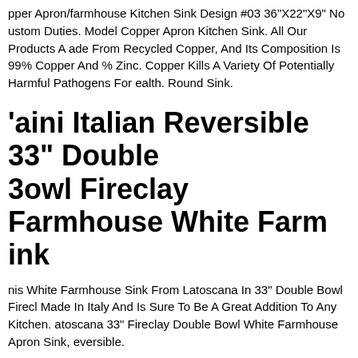pper Apron/farmhouse Kitchen Sink Design #03 36"X22"X9" No custom Duties. Model Copper Apron Kitchen Sink. All Our Products Are Made From Recycled Copper, And Its Composition Is 99% Copper And 1% Zinc. Copper Kills A Variety Of Potentially Harmful Pathogens For Health. Round Sink.
Paini Italian Reversible 33" Double Bowl Fireclay Farmhouse White Farmhouse Sink
This White Farmhouse Sink From Latoscana In 33" Double Bowl Fireclay Is Made In Italy And Is Sure To Be A Great Addition To Any Kitchen. Latoscana 33" Fireclay Double Bowl White Farmhouse Apron Sink, Reversible.
Franke Fhk710-33wh Farmhouse Apron Front 33" Single Basin Fireclay Sink. Franke Fhk710-33wh Farmhouse Apron Front 33" Single Basin Fireclay Sink. The Item Is In Open Condition The Sink Itself Will Be Like New. Thank You For Looking And Best Of Luck!